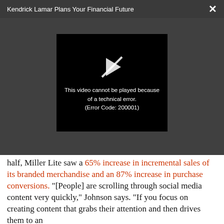Kendrick Lamar Plans Your Financial Future
[Figure (screenshot): Video player showing error message: 'This video cannot be played because of a technical error. (Error Code: 200001)' with a broken play button icon on black background]
half, Miller Lite saw a 65% increase in incremental sales of its branded merchandise and an 87% increase in purchase conversions. "[People] are scrolling through social media content very quickly," Johnson says. "If you focus on creating content that grabs their attention and then drives them to an